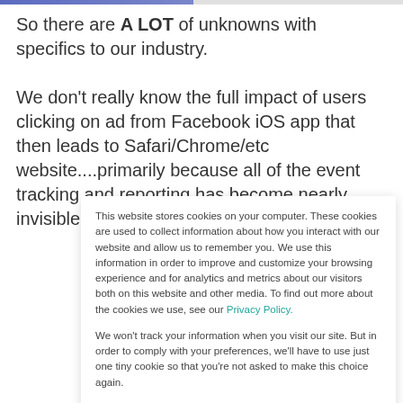So there are A LOT of unknowns with specifics to our industry.
We don't really know the full impact of users clicking on ad from Facebook iOS app that then leads to Safari/Chrome/etc website....primarily because all of the event tracking and reporting has become nearly invisible
This website stores cookies on your computer. These cookies are used to collect information about how you interact with our website and allow us to remember you. We use this information in order to improve and customize your browsing experience and for analytics and metrics about our visitors both on this website and other media. To find out more about the cookies we use, see our Privacy Policy.
We won't track your information when you visit our site. But in order to comply with your preferences, we'll have to use just one tiny cookie so that you're not asked to make this choice again.